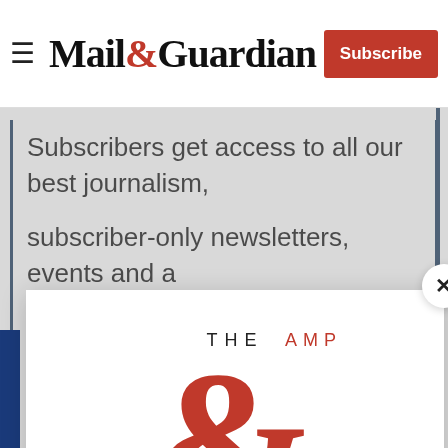Mail&Guardian | Subscribe
Subscribers get access to all our best journalism, subscriber-only newsletters, events and a weekly cryptic crossword.”
[Figure (logo): The Ampersand newsletter logo: large red ampersand with 'THE AMPERSAND' text]
Stay informed. Every weekday.
E-mail Address
Signup now